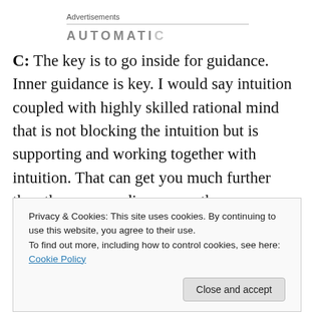Advertisements
AUTOMATI...
C: The key is to go inside for guidance. Inner guidance is key. I would say intuition coupled with highly skilled rational mind that is not blocking the intuition but is supporting and working together with intuition. That can get you much further than the mass media or any other
Privacy & Cookies: This site uses cookies. By continuing to use this website, you agree to their use.
To find out more, including how to control cookies, see here: Cookie Policy
Close and accept
course, a lot of things you have revealed in your interviews